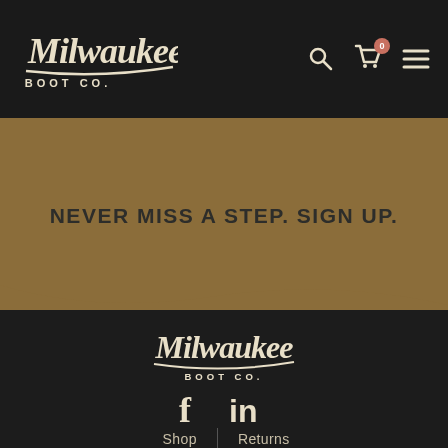Milwaukee Boot Co. — navigation header with logo, search, cart, and menu icons
NEVER MISS A STEP. SIGN UP.
[Figure (logo): Milwaukee Boot Co. script logo in footer, cream/off-white color on dark background]
[Figure (infographic): Social media icons: Facebook (f) and LinkedIn (in)]
Shop | Returns
About | Contact
GET $20 OFF YOUR FIRST PAIR